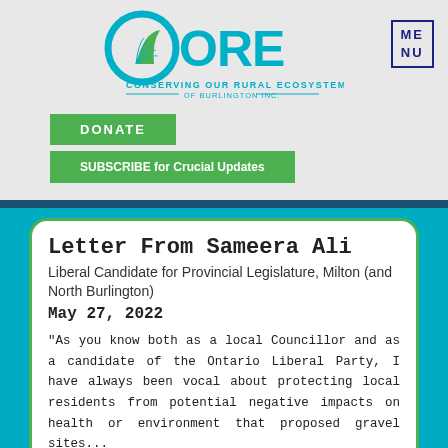[Figure (logo): CORE - Conserving Our Rural Ecosystems of Burlington Inc. logo with teal leaf/field icon and teal text]
ME
NU
DONATE
SUBSCRIBE for Crucial Updates
Letter From Sameera Ali
Liberal Candidate for Provincial Legislature, Milton (and North Burlington)
May 27, 2022
"As you know both as a local Councillor and as a candidate of the Ontario Liberal Party, I have always been vocal about protecting local residents from potential negative impacts on health or environment that proposed gravel sites...